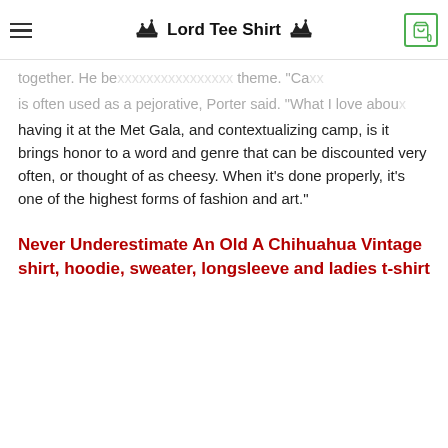Lord Tee Shirt
together. He be... theme. 'Camp' is often used as a pejorative, Porter said. "What I love about having it at the Met Gala, and contextualizing camp, is it brings honor to a word and genre that can be discounted very often, or thought of as cheesy. When it’s done properly, it’s one of the highest forms of fashion and art."
Never Underestimate An Old A Chihuahua Vintage shirt, hoodie, sweater, longsleeve and ladies t-shirt